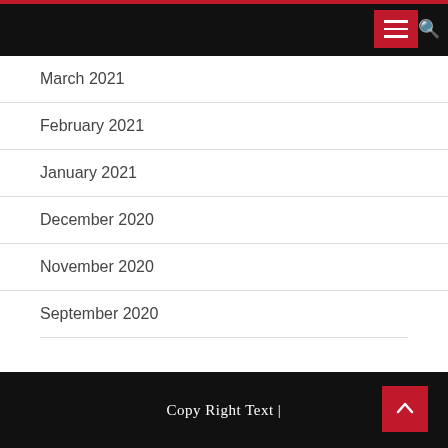March 2021
February 2021
January 2021
December 2020
November 2020
September 2020
Copy Right Text |